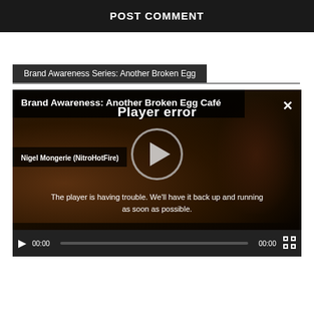POST COMMENT
Brand Awareness Series: Another Broken Egg
[Figure (screenshot): Video player showing 'Brand Awareness: Another Broken Egg Café' by Nigel Mongerie (NitroHotFire) with a player error message overlay: 'Player error — The player is having trouble. We'll have it back up and running as soon as possible.' Play button circle overlay visible. Video controls bar at bottom showing 00:00 timecodes.]